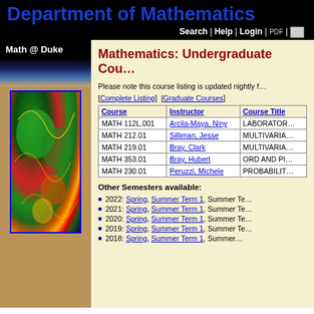Department of Mathematics
Search | Help | Login |
Math @ Duke
[Figure (illustration): Fractal mathematical art image with colorful green, red, yellow, and blue patterns on a dark background]
Mathematics: Undergraduate Courses
Please note this course listing is updated nightly f…
[Complete Listing]  [Graduate Courses]
| Course | Instructor | Course Title |
| --- | --- | --- |
| MATH 112L.001 | Arcila-Maya, Niny | LABORATOR… |
| MATH 212.01 | Silliman, Jesse | MULTIVARIA… |
| MATH 219.01 | Bray, Clark | MULTIVARIA… |
| MATH 353.01 | Bray, Hubert | ORD AND PI… |
| MATH 230.01 | Peruzzi, Michele | PROBABILIT… |
Other Semesters available:
2022: Spring, Summer Term 1, Summer Te…
2021: Spring, Summer Term 1, Summer Te…
2020: Spring, Summer Term 1, Summer Te…
2019: Spring, Summer Term 1, Summer Te…
2018: Spring, Summer Term 1, Summer…